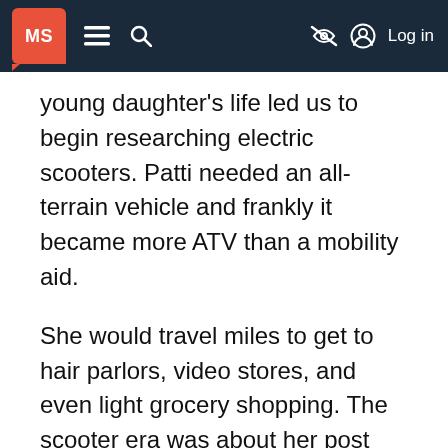MS | ≡ 🔍 | Log in
young daughter's life led us to begin researching electric scooters. Patti needed an all-terrain vehicle and frankly it became more ATV than a mobility aid.
She would travel miles to get to hair parlors, video stores, and even light grocery shopping. The scooter era was about her post MS freedom.
I designed and built a 400 ft long by 4 ft wide Boardwalk from our driveway to house. It wrapped around our house ending disguised as a big front deck. Patti could just zoom out